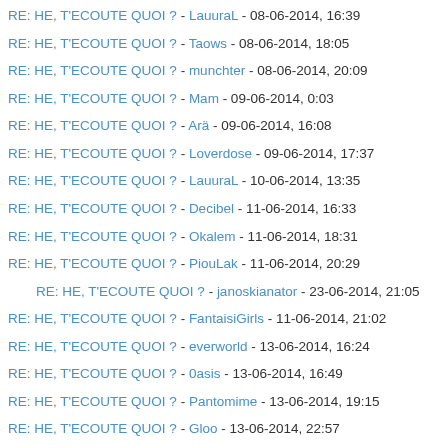RE: HE, T'ECOUTE QUOI ? - LauuraL - 08-06-2014, 16:39
RE: HE, T'ECOUTE QUOI ? - Taows - 08-06-2014, 18:05
RE: HE, T'ECOUTE QUOI ? - munchter - 08-06-2014, 20:09
RE: HE, T'ECOUTE QUOI ? - Mam - 09-06-2014, 0:03
RE: HE, T'ECOUTE QUOI ? - Arä - 09-06-2014, 16:08
RE: HE, T'ECOUTE QUOI ? - Loverdose - 09-06-2014, 17:37
RE: HE, T'ECOUTE QUOI ? - LauuraL - 10-06-2014, 13:35
RE: HE, T'ECOUTE QUOI ? - Decibel - 11-06-2014, 16:33
RE: HE, T'ECOUTE QUOI ? - Okalem - 11-06-2014, 18:31
RE: HE, T'ECOUTE QUOI ? - PiouLak - 11-06-2014, 20:29
RE: HE, T'ECOUTE QUOI ? - janoskianator - 23-06-2014, 21:05
RE: HE, T'ECOUTE QUOI ? - FantaisiGirls - 11-06-2014, 21:02
RE: HE, T'ECOUTE QUOI ? - everworld - 13-06-2014, 16:24
RE: HE, T'ECOUTE QUOI ? - 0asis - 13-06-2014, 16:49
RE: HE, T'ECOUTE QUOI ? - Pantomime - 13-06-2014, 19:15
RE: HE, T'ECOUTE QUOI ? - Gloo - 13-06-2014, 22:57
RE: HE, T'ECOUTE QUOI ? - Nirage - 13-06-2014, 23:00
RE: HE, T'ECOUTE QUOI ? - Okalem - 14-06-2014, 0:25
RE: HE, T'ECOUTE QUOI ? - Kirucchi - 14-06-2014, 0:49
RE: HE, T'ECOUTE QUOI ? - Garnia - 14-06-2014, 1:45
RE: HE, T'ECOUTE QUOI ? - Xuu - 14-06-2014, 1:59
RE: HE, T'ECOUTE QUOI ? - Garnia - 14-06-2014, 2:48
RE: HE, T'ECOUTE QUOI ? - Mayosaki - 14-06-2014, 12:37